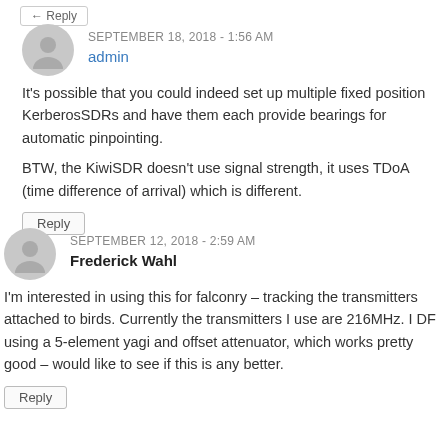← (reply button, top)
SEPTEMBER 18, 2018 - 1:56 AM
admin
It's possible that you could indeed set up multiple fixed position KerberosSDRs and have them each provide bearings for automatic pinpointing.
BTW, the KiwiSDR doesn't use signal strength, it uses TDoA (time difference of arrival) which is different.
Reply
SEPTEMBER 12, 2018 - 2:59 AM
Frederick Wahl
I'm interested in using this for falconry – tracking the transmitters attached to birds. Currently the transmitters I use are 216MHz. I DF using a 5-element yagi and offset attenuator, which works pretty good – would like to see if this is any better.
Reply